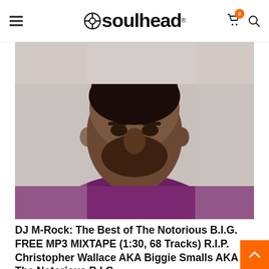soulhead
[Figure (photo): Black and white portrait photo of a Black man with a beard wearing a dark maroon/purple t-shirt, looking directly at the camera against a light background]
DJ M-Rock: The Best of The Notorious B.I.G. FREE MP3 MIXTAPE (1:30, 68 Tracks) R.I.P. Christopher Wallace AKA Biggie Smalls AKA The Notorious B.I.G.